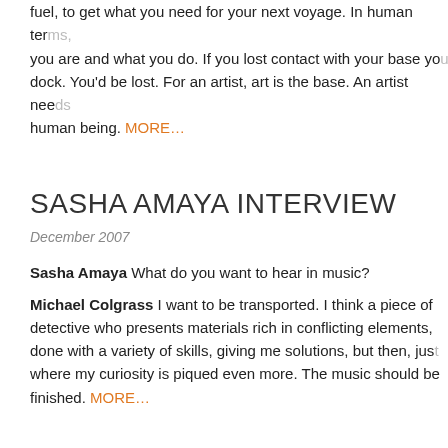fuel, to get what you need for your next voyage. In human terms, you are and what you do. If you lost contact with your base you dock. You'd be lost. For an artist, art is the base. An artist needs human being. MORE…
SASHA AMAYA INTERVIEW
December 2007
Sasha Amaya What do you want to hear in music?
Michael Colgrass I want to be transported. I think a piece of detective who presents materials rich in conflicting elements, done with a variety of skills, giving me solutions, but then, just where my curiosity is piqued even more. The music should be finished. MORE…
INTERVIEW FOR STRATEGIE MAGAZIN
MILAN, February 2005
Strategie Magazine Your background is in music. How did yo
Michael Colgrass In 1980, NLP developers Robert Dilts and